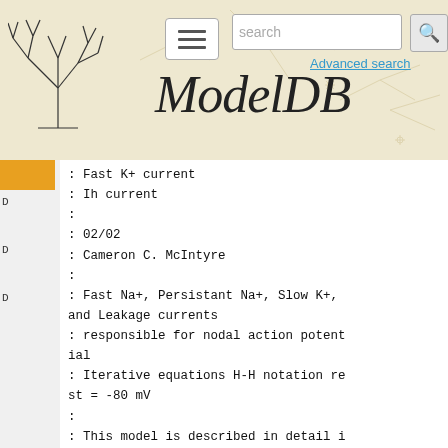ModelDB — Advanced search
: Fast K+ current
: Ih current
:
: 02/02
: Cameron C. McIntyre
:
: Fast Na+, Persistant Na+, Slow K+, and Leakage currents
: responsible for nodal action potential
: Iterative equations H-H notation rest = -80 mV
:
: This model is described in detail in:
:
: Gaines JS, Finn KE, Slopsema JP, Heyboer LA, Polasek KH. A Model of
: Motor and Sensory Axon Activation in the Median Nerve Using Surface